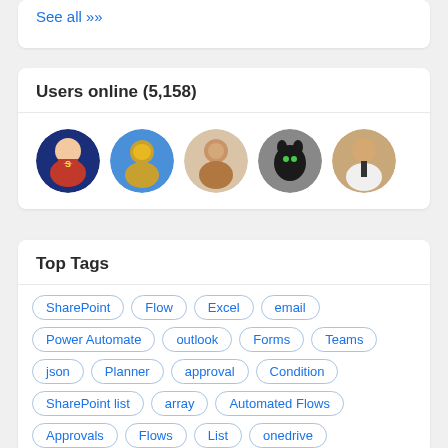See all »
Users online (5,158)
[Figure (photo): Five circular avatar photos of online users]
Top Tags
SharePoint
Flow
Excel
email
Power Automate
outlook
Forms
Teams
json
Planner
approval
Condition
SharePoint list
array
Automated Flows
Approvals
Flows
List
onedrive